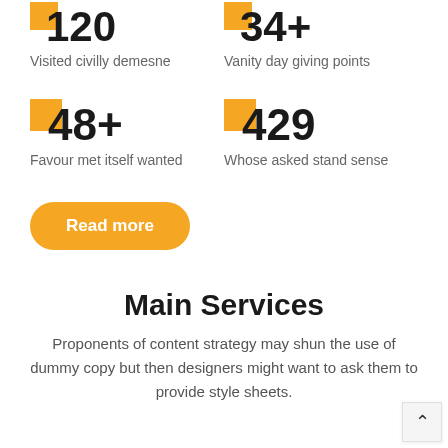120 Visited civilly demesne
34+ Vanity day giving points
48+ Favour met itself wanted
429 Whose asked stand sense
Read more
Main Services
Proponents of content strategy may shun the use of dummy copy but then designers might want to ask them to provide style sheets.